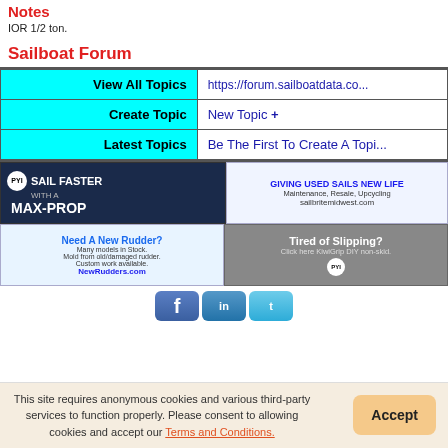Notes
IOR 1/2 ton.
Sailboat Forum
|  |  |
| --- | --- |
| View All Topics | https://forum.sailboatdata.co... |
| Create Topic | New Topic + |
| Latest Topics | Be The First To Create A Topi... |
[Figure (photo): PYI Sail Faster With A Max-Prop advertisement banner]
[Figure (photo): Giving Used Sails New Life - sailbritemidwest.com advertisement banner]
[Figure (photo): Need A New Rudder? NewRudders.com advertisement banner]
[Figure (photo): Tired of Slipping? PYI KiwiGrip DIY non-skid advertisement banner]
[Figure (infographic): Social media buttons: Facebook, LinkedIn, Twitter]
This site requires anonymous cookies and various third-party services to function properly. Please consent to allowing cookies and accept our Terms and Conditions.